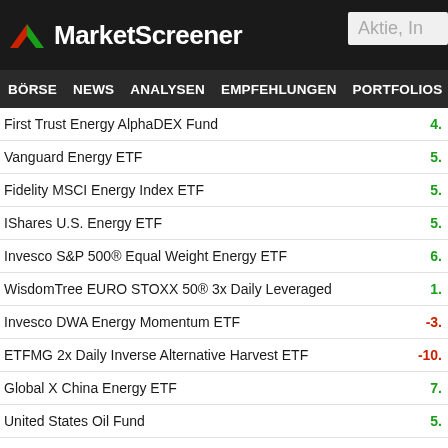MarketScreener
BÖRSE | NEWS | ANALYSEN | EMPFEHLUNGEN | PORTFOLIOS | WATCHL...
| Name | Value |
| --- | --- |
| First Trust Energy AlphaDEX Fund | 4. |
| Vanguard Energy ETF | 5. |
| Fidelity MSCI Energy Index ETF | 5. |
| IShares U.S. Energy ETF | 5. |
| Invesco S&P 500® Equal Weight Energy ETF | 6. |
| WisdomTree EURO STOXX 50® 3x Daily Leveraged | 1. |
| Invesco DWA Energy Momentum ETF | -3. |
| ETFMG 2x Daily Inverse Alternative Harvest ETF | -10. |
| Global X China Energy ETF | 7. |
| United States Oil Fund | 5. |
| ProShares UltraShort Yen ETF | 2. |
| First Trust Nasdaq Oil & Gas ETF | -2. |
| ProShares UltraShort Consumer Services ETF | 4. |
| IShares Global Energy ETF | 5. |
| Invesco S&P SmallCap Energy ETF | -4. |
| ProShares UltraShort Semiconductors ETF | 7. |